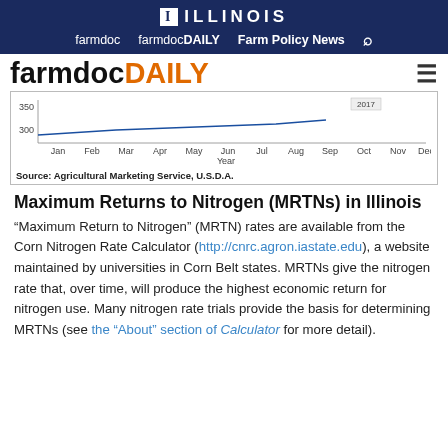ILLINOIS — farmdoc  farmdocDAILY  Farm Policy News
[Figure (line-chart): Partial line chart showing year values with x-axis months Jan–Dec and y-axis values around 300–350, source Agricultural Marketing Service, U.S.D.A.]
Source: Agricultural Marketing Service, U.S.D.A.
Maximum Returns to Nitrogen (MRTNs) in Illinois
“Maximum Return to Nitrogen” (MRTN) rates are available from the Corn Nitrogen Rate Calculator (http://cnrc.agron.iastate.edu), a website maintained by universities in Corn Belt states. MRTNs give the nitrogen rate that, over time, will produce the highest economic return for nitrogen use. Many nitrogen rate trials provide the basis for determining MRTNs (see the “About” section of Calculator for more detail).